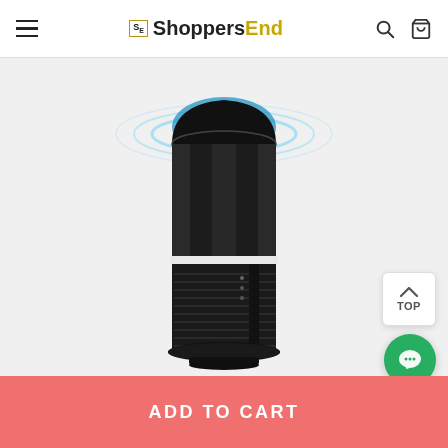ShoppersEnd
[Figure (photo): Black cylindrical mosquito killer lamp with blue UV light glowing at the top, ventilation grille at the bottom section, and a white separator band in the middle. The device has a sleek black finish with a dome-shaped cap on top emitting blue light rings/swirls.]
TOP
ADD TO CART